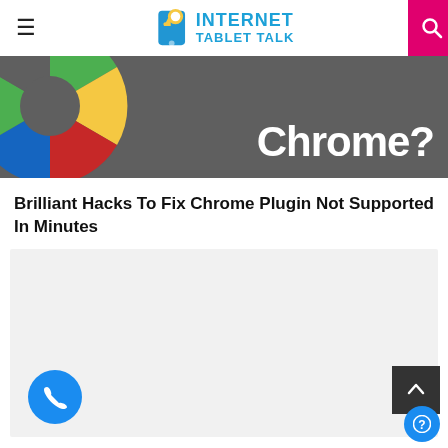Internet Tablet Talk
[Figure (screenshot): Partial Chrome browser logo (green, yellow, red circular icon) on dark gray background with large white bold text 'Chrome?' on the right side]
Brilliant Hacks To Fix Chrome Plugin Not Supported In Minutes
[Figure (other): Light gray advertisement placeholder block]